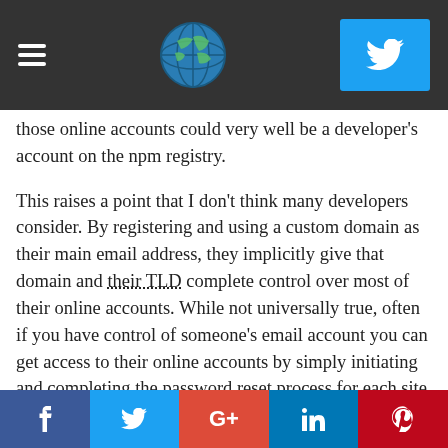[Navigation bar with hamburger menu, globe icon, and Twitter button]
those online accounts could very well be a developer's account on the npm registry.
This raises a point that I don't think many developers consider. By registering and using a custom domain as their main email address, they implicitly give that domain and their TLD complete control over most of their online accounts. While not universally true, often if you have control of someone's email account you can get access to their online accounts by simply initiating and completing the password reset process for each site. Again, the npm registry is no exception to this. If you have control of someone's email you can reset the npm account's password and take over the account.
Social share buttons: Facebook, Twitter, Google+, LinkedIn, Pinterest